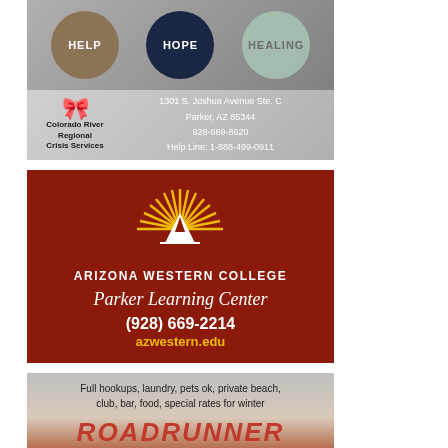[Figure (infographic): Colorado River Regional Crisis Services advertisement with three circles labeled HELP, HOPE, HEALING and contact info: 1301 S. Joshua Avenue Ste. C, Parker, AZ 85344, 928-669-8620, Help Line: 1-888-499-0911]
[Figure (infographic): Arizona Western College Parker Learning Center advertisement with sun/mountain logo, phone (928) 669-2214, website azwestern.edu on dark red background]
[Figure (infographic): Roadrunner advertisement. Text: Full hookups, laundry, pets ok, private beach, club, bar, food, special rates for winter. Title: ROADRUNNER in red.]